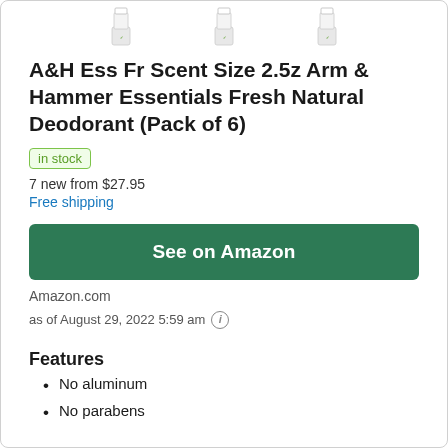[Figure (photo): Three deodorant stick product images shown at the top of the page]
A&H Ess Fr Scent Size 2.5z Arm & Hammer Essentials Fresh Natural Deodorant (Pack of 6)
in stock
7 new from $27.95
Free shipping
See on Amazon
Amazon.com
as of August 29, 2022 5:59 am ℹ
Features
No aluminum
No parabens